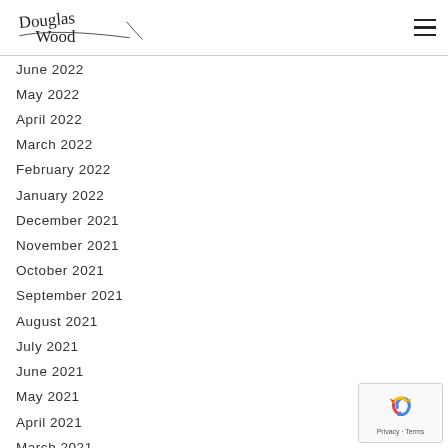Douglas Wood
June 2022
May 2022
April 2022
March 2022
February 2022
January 2022
December 2021
November 2021
October 2021
September 2021
August 2021
July 2021
June 2021
May 2021
April 2021
March 2021
February 2021
January 2021